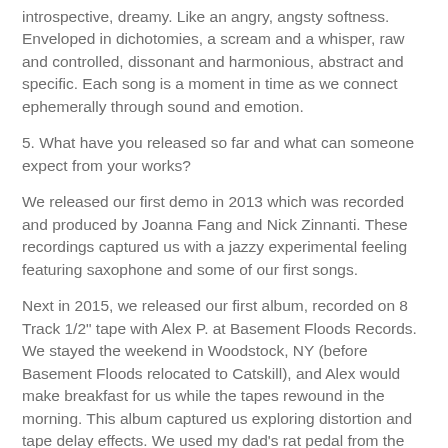introspective, dreamy. Like an angry, angsty softness. Enveloped in dichotomies, a scream and a whisper, raw and controlled, dissonant and harmonious, abstract and specific. Each song is a moment in time as we connect ephemerally through sound and emotion.
5. What have you released so far and what can someone expect from your works?
We released our first demo in 2013 which was recorded and produced by Joanna Fang and Nick Zinnanti. These recordings captured us with a jazzy experimental feeling featuring saxophone and some of our first songs.
Next in 2015, we released our first album, recorded on 8 Track 1/2" tape with Alex P. at Basement Floods Records. We stayed the weekend in Woodstock, NY (before Basement Floods relocated to Catskill), and Alex would make breakfast for us while the tapes rewound in the morning. This album captured us exploring distortion and tape delay effects. We used my dad's rat pedal from the 80's and felt inspired by the analog recording process.